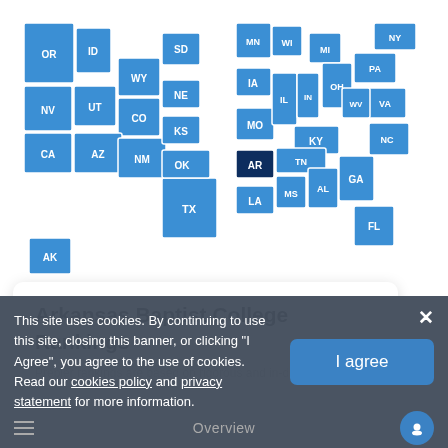[Figure (map): Interactive US map with states highlighted in blue, Arkansas (AR) highlighted in dark navy/black to indicate selected state]
Arkansas Baptist College Rankings
Prepler rankings are based on rigorous and in-depth analysis of
This site uses cookies. By continuing to use this site, closing this banner, or clicking "I Agree", you agree to the use of cookies.
Read our cookies policy and privacy statement for more information.